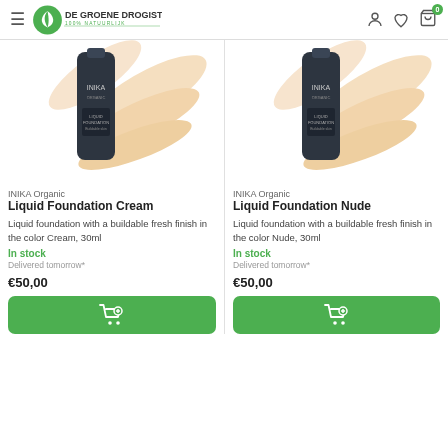De Groene Drogist — 100% Natuurlijk
[Figure (photo): INIKA Organic Liquid Foundation Cream bottle with cream-colored swirl swatch]
INIKA Organic
Liquid Foundation Cream
Liquid foundation with a buildable fresh finish in the color Cream, 30ml
In stock
Delivered tomorrow*
€50,00
[Figure (photo): INIKA Organic Liquid Foundation Nude bottle with cream-colored swirl swatch]
INIKA Organic
Liquid Foundation Nude
Liquid foundation with a buildable fresh finish in the color Nude, 30ml
In stock
Delivered tomorrow*
€50,00